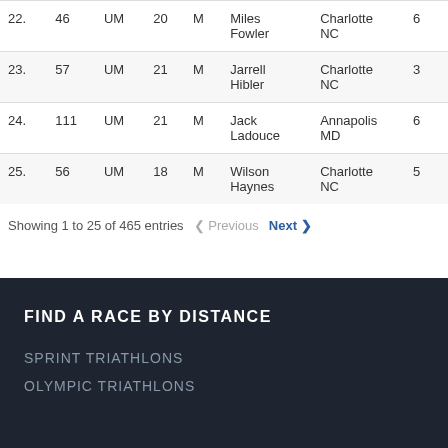| Rank | Bib | Category | Age | Sex | Name | City | Time |
| --- | --- | --- | --- | --- | --- | --- | --- |
| 22. | 46 | UM | 20 | M | Miles Fowler | Charlotte NC | 6 |
| 23. | 57 | UM | 21 | M | Jarrell Hibler | Charlotte NC | 3 |
| 24. | 111 | UM | 21 | M | Jack Ladouce | Annapolis MD | 6 |
| 25. | 56 | UM | 18 | M | Wilson Haynes | Charlotte NC | 5 |
Showing 1 to 25 of 465 entries  Previous  Next
FIND A RACE BY DISTANCE
SPRINT TRIATHLONS
OLYMPIC TRIATHLONS